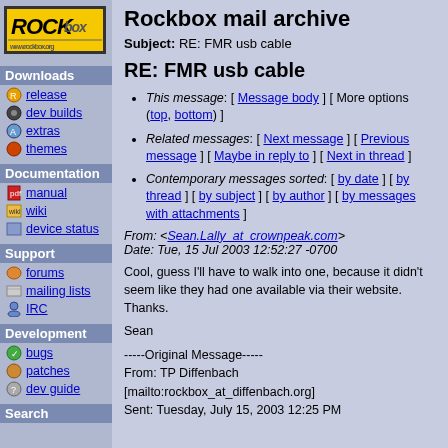[Figure (logo): Rockbox logo: yellow background with ROCK in large bold italic text and 'box' in smaller text]
Downloads
release
dev builds
extras
themes
Documentation
manual
wiki
device status
Support
forums
mailing lists
IRC
Development
bugs
patches
dev guide
Search
Rockbox mail archive
Subject: RE: FMR usb cable
RE: FMR usb cable
This message: [ Message body ] [ More options (top, bottom) ]
Related messages: [ Next message ] [ Previous message ] [ Maybe in reply to ] [ Next in thread ]
Contemporary messages sorted: [ by date ] [ by thread ] [ by subject ] [ by author ] [ by messages with attachments ]
From: <Sean.Lally_at_crownpeak.com>
Date: Tue, 15 Jul 2003 12:52:27 -0700
Cool, guess I'll have to walk into one, because it didn't seem like they had one available via their website. Thanks.

Sean
-----Original Message-----
From: TP Diffenbach
[mailto:rockbox_at_diffenbach.org]
Sent: Tuesday, July 15, 2003 12:25 PM